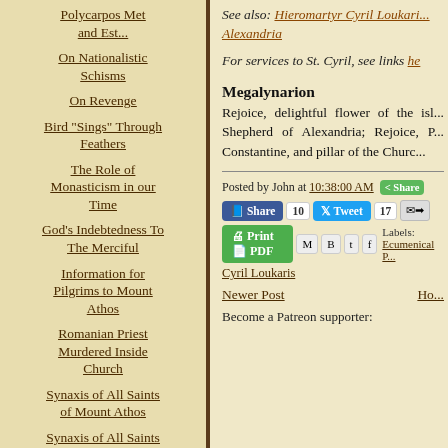Polycarpos Met and Est...
On Nationalistic Schisms
On Revenge
Bird "Sings" Through Feathers
The Role of Monasticism in our Time
God's Indebtedness To The Merciful
Information for Pilgrims to Mount Athos
Romanian Priest Murdered Inside Church
Synaxis of All Saints of Mount Athos
Synaxis of All Saints of Patmos
Synaxis of All Saints
See also: Hieromartyr Cyril Loukaris of Alexandria
For services to St. Cyril, see links he
Megalynarion
Rejoice, delightful flower of the isl... Shepherd of Alexandria; Rejoice, P... Constantine, and pillar of the Churc...
Posted by John at 10:38:00 AM
Labels: Ecumenical P...
Cyril Loukaris
Newer Post
Ho...
Become a Patreon supporter: